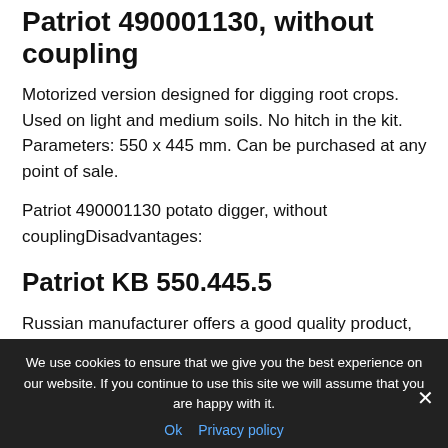Patriot 490001130, without coupling
Motorized version designed for digging root crops. Used on light and medium soils. No hitch in the kit. Parameters: 550 x 445 mm. Can be purchased at any point of sale.
Patriot 490001130 potato digger, without couplingDisadvantages:
Patriot KB 550.445.5
Russian manufacturer offers a good quality product, which will be indispensable, transforming potatoes digging from manual to mechanized way. Used with Patriot power tillers. Sifts the soil and throws the
We use cookies to ensure that we give you the best experience on our website. If you continue to use this site we will assume that you are happy with it.
Ok   Privacy policy